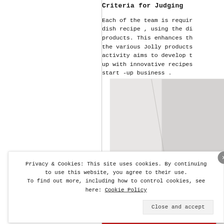Criteria for Judging
Each of the team is required to create a dish recipe , using the different Jolly products. This enhances their skills on the various Jolly products . Also this activity aims to develop their ability to come up with innovative recipes for their future start -up business .
[Figure (photo): A photo showing what appears to be a person or person's hand, partially visible, with a light/white background.]
Privacy & Cookies: This site uses cookies. By continuing to use this website, you agree to their use. To find out more, including how to control cookies, see here: Cookie Policy
Close and accept